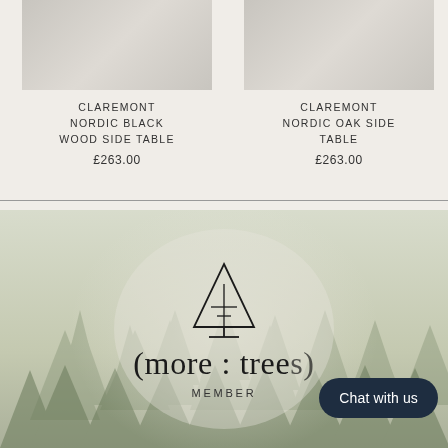CLAREMONT NORDIC BLACK WOOD SIDE TABLE
£263.00
CLAREMONT NORDIC OAK SIDE TABLE
£263.00
[Figure (logo): More Trees member logo: stylized pine tree icon above text '(more:trees)' and 'MEMBER' on a misty forest background with circular overlay]
Chat with us